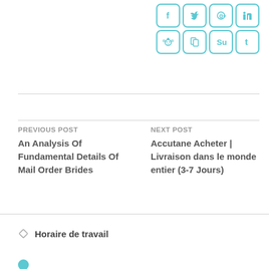[Figure (other): Social media sharing icons (two rows of 4 rounded-square teal-bordered icons: row 1: Facebook f, Twitter bird, Google+, LinkedIn, plus arrow; row 2: Reddit alien, share/bookmark, StumbleUpon, Tumblr t)]
PREVIOUS POST
An Analysis Of Fundamental Details Of Mail Order Brides
NEXT POST
Accutane Acheter | Livraison dans le monde entier (3-7 Jours)
Horaire de travail